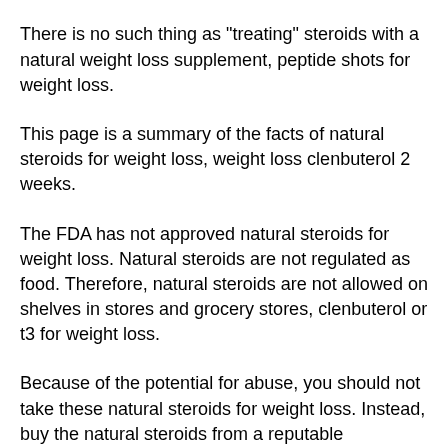designed to look like actual illegal steroidsor anabolic steroids.
There is no such thing as "treating" steroids with a natural weight loss supplement, peptide shots for weight loss.
This page is a summary of the facts of natural steroids for weight loss, weight loss clenbuterol 2 weeks.
The FDA has not approved natural steroids for weight loss. Natural steroids are not regulated as food. Therefore, natural steroids are not allowed on shelves in stores and grocery stores, clenbuterol or t3 for weight loss.
Because of the potential for abuse, you should not take these natural steroids for weight loss. Instead, buy the natural steroids from a reputable physician, clenbuterol or t3